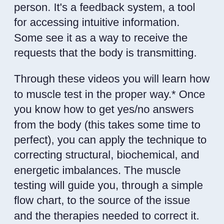person. It's a feedback system, a tool for accessing intuitive information. Some see it as a way to receive the requests that the body is transmitting.
Through these videos you will learn how to muscle test in the proper way.* Once you know how to get yes/no answers from the body (this takes some time to perfect), you can apply the technique to correcting structural, biochemical, and energetic imbalances. The muscle testing will guide you, through a simple flow chart, to the source of the issue and the therapies needed to correct it.
This work seeks to return us to low-tech healing. No gadgets, computers, or machines